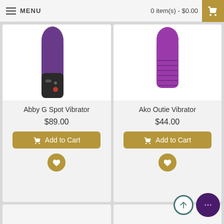MENU   0 item(s) - $0.00
[Figure (screenshot): Product card: Abby G Spot Vibrator - purple and black vibrator product image]
Abby G Spot Vibrator
$89.00
Add to Cart
[Figure (screenshot): Product card: Ako Outie Vibrator - purple vibrator product image]
Ako Outie Vibrator
$44.00
Add to Cart
[Figure (other): Scroll to top circular button and chat bubble button in bottom right corner]